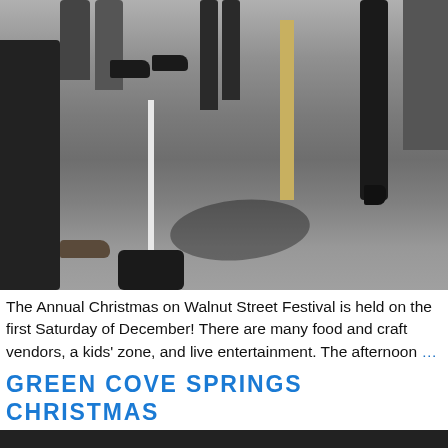[Figure (photo): Street festival scene showing legs and feet of people walking on asphalt pavement, with a crowd barrier pole and weighted base visible on the left, and various shoes including sandals, dress shoes, and heels visible.]
The Annual Christmas on Walnut Street Festival is held on the first Saturday of December! There are many food and craft vendors, a kids’ zone, and live entertainment.  The afternoon …
GREEN COVE SPRINGS CHRISTMAS PARADE
Connor Mathews | September 27, 2021